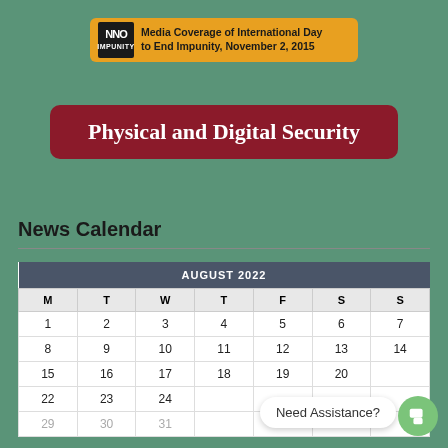[Figure (logo): No Impunity logo banner with orange background: black square logo with 'NO IMPUNITY' text and 'Media Coverage of International Day to End Impunity, November 2, 2015' text]
Physical and Digital Security
News Calendar
| M | T | W | T | F | S | S |
| --- | --- | --- | --- | --- | --- | --- |
| 1 | 2 | 3 | 4 | 5 | 6 | 7 |
| 8 | 9 | 10 | 11 | 12 | 13 | 14 |
| 15 | 16 | 17 | 18 | 19 | 20 | 21 |
| 22 | 23 | 24 | 25 | 26 | 27 | 28 |
| 29 | 30 | 31 |  |  |  |  |